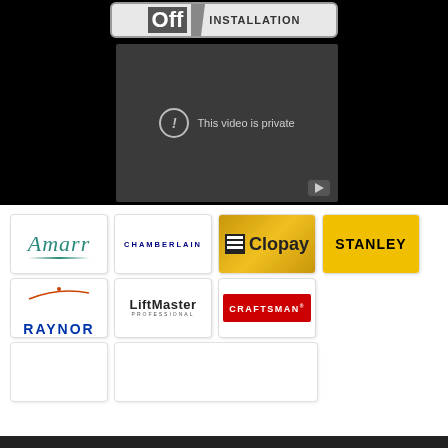[Figure (screenshot): Top banner with 'Off INSTALLATION' text on dark background]
[Figure (screenshot): Video player showing 'This video is private' message with YouTube icon]
[Figure (logo): Amarr logo - italic teal script]
[Figure (logo): Chamberlain logo - navy uppercase letters]
[Figure (logo): Clopay logo - gold background with icon]
[Figure (logo): Stanley logo - yellow background black text]
[Figure (logo): Raynor logo - blue bold text with arc]
[Figure (logo): LiftMaster Professional logo]
[Figure (logo): Craftsman logo - red background white text]
[Figure (other): Empty white logo box 1]
[Figure (other): Empty white logo box 2]